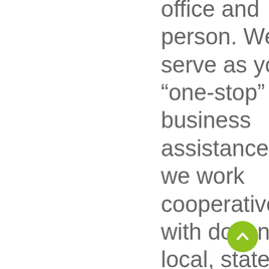office and person. We can serve as your “one-stop” site for business assistance, since we work cooperatively with dozens of local, state, and federal agencies so that no matter what your needs are, we can refer you to the appropriate office and
[Figure (other): Green circular scroll-to-top button with upward chevron arrow]